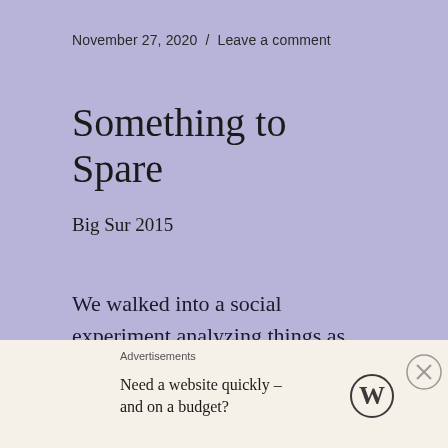November 27, 2020  /  Leave a comment
Something to Spare
Big Sur 2015
We walked into a social experiment analyzing things as they unfolded.
The asphalt was cold under my feet as Emmie and I scurried across Highway 1.  We found our
Advertisements
Need a website quickly – and on a budget?